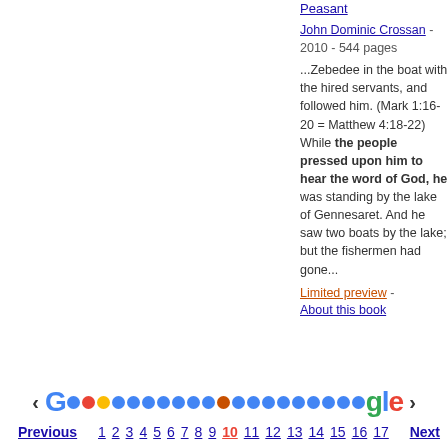...Zebedee in the boat with the hired servants, and followed him. (Mark 1:16-20 = Matthew 4:18-22) While the people pressed upon him to hear the word of God, he was standing by the lake of Gennesaret. And he saw two boats by the lake; but the fishermen had gone...
Limited preview - About this book
John Dominic Crossan - 2010 - 544 pages
< Previous 1 2 3 4 5 6 7 8 9 10 11 12 13 14 15 16 17 Next